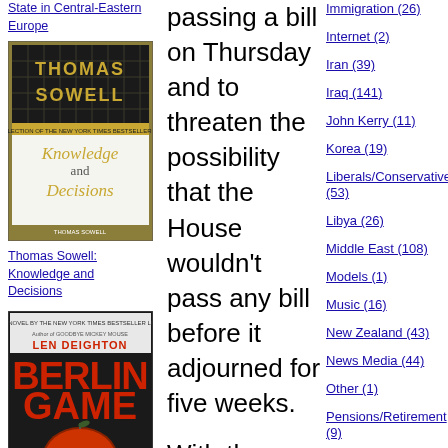State in Central-Eastern Europe
[Figure (photo): Book cover: Thomas Sowell - Knowledge and Decisions]
Thomas Sowell: Knowledge and Decisions
[Figure (photo): Book cover: Len Deighton - Berlin Game]
Len Deighton: Berlin
passing a bill on Thursday and to threaten the possibility that the House wouldn't pass any bill before it adjourned for five weeks.

With the following result: Even though President Obama pressed a
Immigration (26)
Internet (2)
Iran (39)
Iraq (141)
John Kerry (11)
Korea (19)
Liberals/Conservatives (53)
Libya (26)
Middle East (108)
Models (1)
Music (16)
New Zealand (43)
News Media (44)
Other (1)
Pensions/Retirement (9)
Plame (6)
Policy, What Policy? (6)
Political Correctness (16)